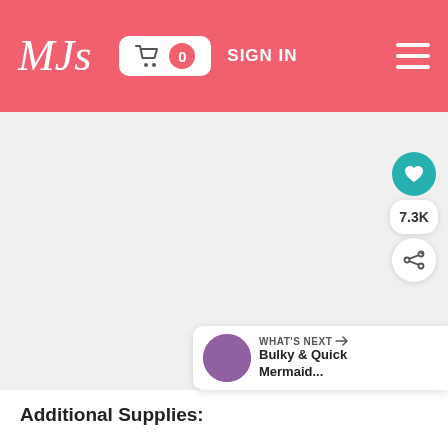MJs | Cart 0 | SIGN IN
[Figure (screenshot): Product image carousel area — light gray background with three slide indicator dots at center]
7.3K
[Figure (infographic): WHAT'S NEXT → Bulky & Quick Mermaid... promotional card with circular thumbnail]
Additional Supplies: